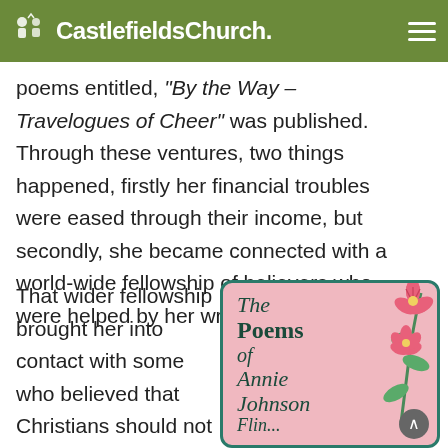Castlefields Church.
poems entitled, “By the Way – Travelogues of Cheer” was published. Through these ventures, two things happened, firstly her financial troubles were eased through their income, but secondly, she became connected with a world-wide fellowship of believers who were helped by her writings.
That wider fellowship brought her into contact with some who believed that Christians should not suffer illness and restrictions
[Figure (photo): Book cover of 'The Poems of Annie Johnson Flint' with pink background, teal/green border with rounded corners, and floral decoration (pink hibiscus flowers with green leaves) on the right side. Title text in dark green italic and bold serif font.]